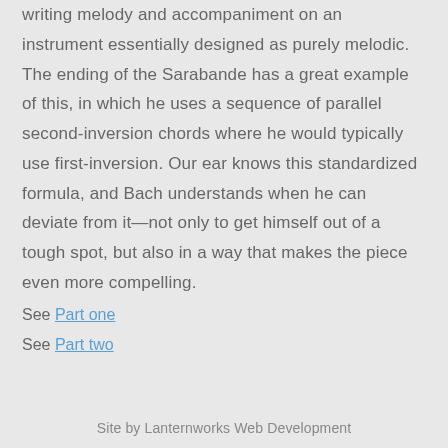writing melody and accompaniment on an instrument essentially designed as purely melodic. The ending of the Sarabande has a great example of this, in which he uses a sequence of parallel second-inversion chords where he would typically use first-inversion. Our ear knows this standardized formula, and Bach understands when he can deviate from it—not only to get himself out of a tough spot, but also in a way that makes the piece even more compelling.
See Part one
See Part two
Site by Lanternworks Web Development